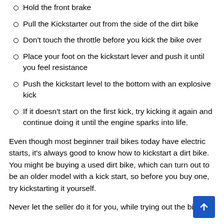Put the bike into neutral
Hold the front brake
Pull the Kickstarter out from the side of the dirt bike
Don't touch the throttle before you kick the bike over
Place your foot on the kickstart lever and push it until you feel resistance
Push the kickstart level to the bottom with an explosive kick
If it doesn't start on the first kick, try kicking it again and continue doing it until the engine sparks into life.
Even though most beginner trail bikes today have electric starts, it's always good to know how to kickstart a dirt bike. You might be buying a used dirt bike, which can turn out to be an older model with a kick start, so before you buy one, try kickstarting it yourself.
Never let the seller do it for you, while trying out the bike try